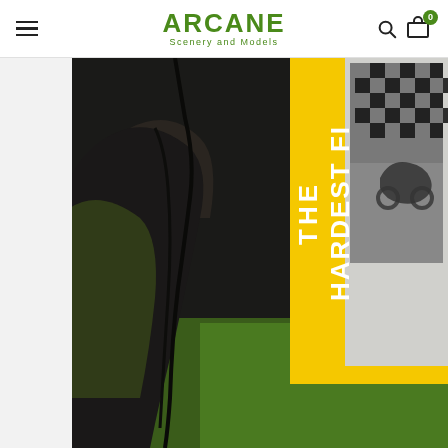ARCANE Scenery and Models — navigation header with hamburger menu, logo, search icon, and cart icon showing 0
[Figure (photo): Close-up photo of a model scenery scene showing green grass mat, dark rocky/textured terrain piece in the center-left, and a yellow-bordered book or product box titled 'THE HARDEST FI[GHT]' with a black-and-white checkered racing flag motif and a motorcycle visible on the right side.]